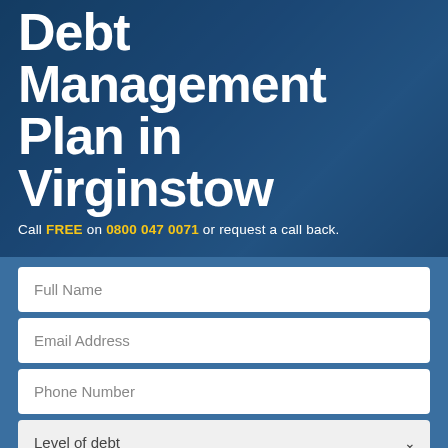Debt Management Plan in Virginstow
Call FREE on 0800 047 0071 or request a call back.
[Figure (screenshot): Web form with fields: Full Name, Email Address, Phone Number, Level of debt dropdown]
Full Name
Email Address
Phone Number
Level of debt